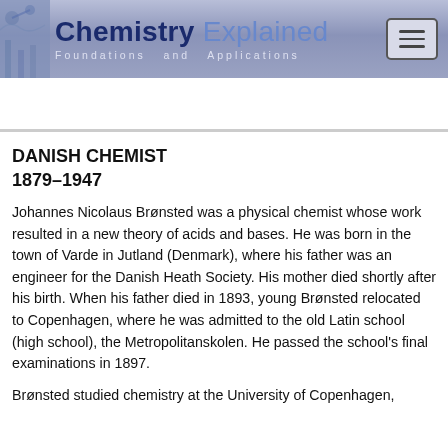Chemistry Explained — Foundations and Applications
DANISH CHEMIST
1879–1947
Johannes Nicolaus Brønsted was a physical chemist whose work resulted in a new theory of acids and bases. He was born in the town of Varde in Jutland (Denmark), where his father was an engineer for the Danish Heath Society. His mother died shortly after his birth. When his father died in 1893, young Brønsted relocated to Copenhagen, where he was admitted to the old Latin school (high school), the Metropolitanskolen. He passed the school's final examinations in 1897.
Brønsted studied chemistry at the University of Copenhagen,